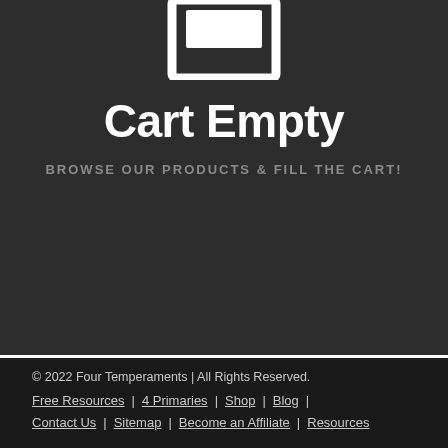[Figure (illustration): Shopping cart icon in white outline on dark background]
Cart Empty
BROWSE OUR PRODUCTS & FILL THE CART!
© 2022 Four Temperaments | All Rights Reserved.
Free Resources  |  4 Primaries  |  Shop  |  Blog  |
Contact Us  |  Sitemap  |  Become an Affiliate  |  Resources